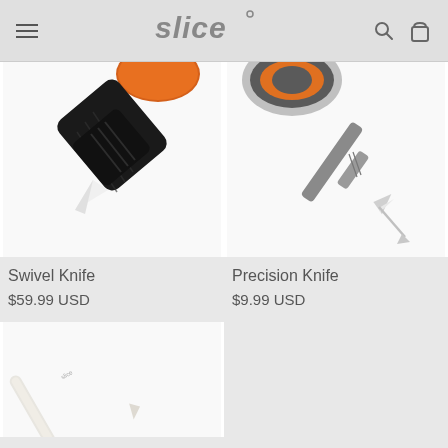slice
[Figure (photo): Close-up of a Swivel Knife with orange and black handle showing black textured grip and white ceramic blade tip]
[Figure (photo): Precision Knife with gray and orange handle, silver textured metal grip area, and sharp pointed ceramic blade]
Swivel Knife
$59.99 USD
Precision Knife
$9.99 USD
[Figure (photo): Partial view of a white ceramic-bladed tool/knife with a slim white handle, shown diagonally against light background]